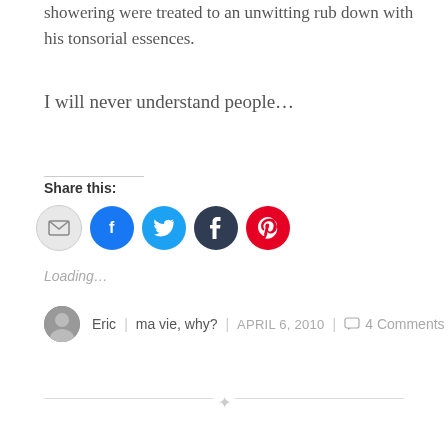showering were treated to an unwitting rub down with his tonsorial essences.
I will never understand people…
Share this:
[Figure (infographic): Row of social share icon buttons: email (gray), Facebook (blue), Twitter (cyan), Tumblr (dark navy), Pinterest (red)]
Loading…
Eric | ma vie, why? | APRIL 6, 2010 | 4 Comments